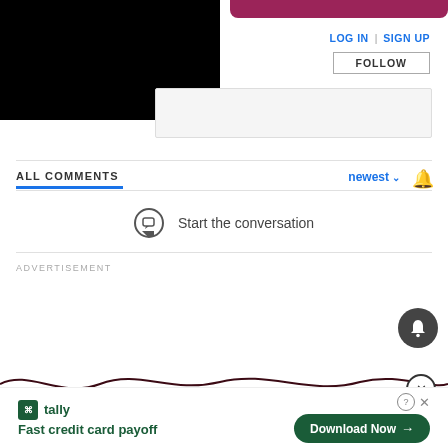[Figure (screenshot): Black video player area in top left]
[Figure (screenshot): Pink/maroon decorative bar at top right]
LOG IN  |  SIGN UP
FOLLOW
ALL COMMENTS
newest
Start the conversation
ADVERTISEMENT
[Figure (screenshot): Floating dark bell notification icon button]
[Figure (illustration): Decorative wavy dark line across page with close (X) button]
[Figure (screenshot): Tally advertisement banner: Fast credit card payoff with Download Now button]